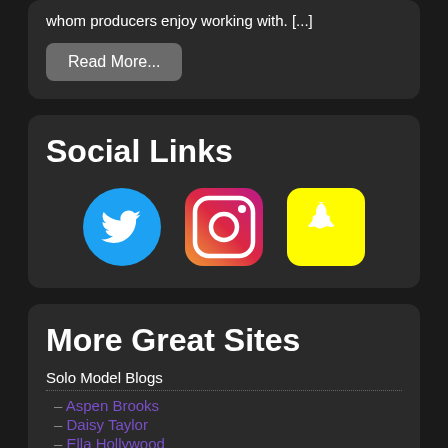whom producers enjoy working with. [...]
Read More...
Social Links
[Figure (illustration): Three social media icons: Twitter (blue circle with bird), Instagram (gradient square with camera), Snapchat (yellow square with ghost)]
More Great Sites
Solo Model Blogs
– Aspen Brooks
– Daisy Taylor
– Ella Hollywood
– Kendall Penny